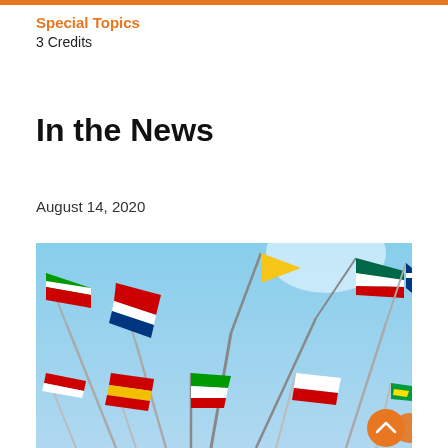Special Topics
3 Credits
In the News
August 14, 2020
[Figure (photo): Photograph of multiple international flags on poles against a blue sky, viewed from below at an upward angle. Flags include various colorful national flags waving in the wind.]